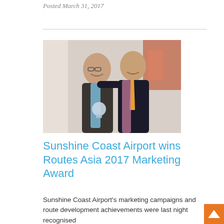Posted March 31, 2017
[Figure (photo): Two men smiling at an award ceremony, both wearing colorful scarves. The man on the left is older, wearing glasses and holding a circular glass trophy. The man on the right is younger and wearing an orange tie.]
Sunshine Coast Airport wins Routes Asia 2017 Marketing Award
Sunshine Coast Airport's marketing campaigns and route development achievements were last night recognised when they were presented a coveted award in